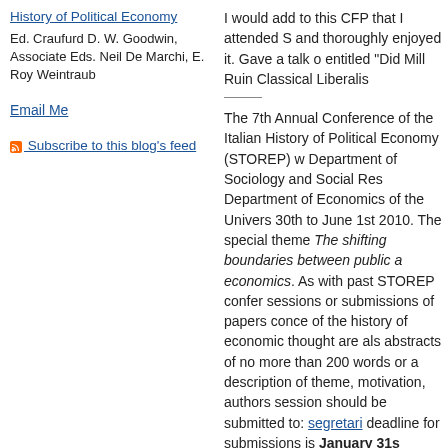History of Political Economy
Ed. Craufurd D. W. Goodwin, Associate Eds. Neil De Marchi, E. Roy Weintraub
Email Me
Subscribe to this blog's feed
I would add to this CFP that I attended S and thoroughly enjoyed it. Gave a talk o entitled "Did Mill Ruin Classical Liberalis
The 7th Annual Conference of the Italian History of Political Economy (STOREP) w Department of Sociology and Social Res Department of Economics of the Univers 30th to June 1st 2010. The special theme The shifting boundaries between public a economics. As with past STOREP confer sessions or submissions of papers conce of the history of economic thought are als abstracts of no more than 200 words or description of theme, motivation, authors session should be submitted to: segretari deadline for submissions is January 31s Committee will send notice of acceptance February 20th, 2010. Completed papers 10th, 2010. Call for paper and further info at http://events.unitn.it/en/storep2010
November 10, 2009 in History of Economic Thou